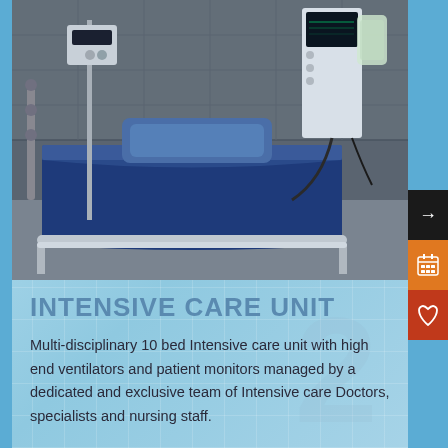[Figure (photo): Hospital ICU bed with blue sheets and pillow, medical monitoring equipment on the right side, IV pole on the left, against a grey/tile wall background]
INTENSIVE CARE UNIT
Multi-disciplinary 10 bed Intensive care unit with high end ventilators and patient monitors managed by a dedicated and exclusive team of Intensive care Doctors, specialists and nursing staff.